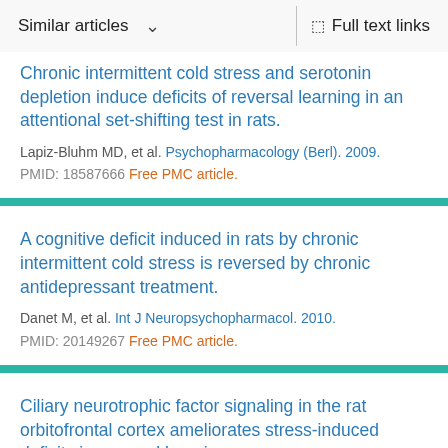Similar articles  ∨  Full text links
Chronic intermittent cold stress and serotonin depletion induce deficits of reversal learning in an attentional set-shifting test in rats.
Lapiz-Bluhm MD, et al. Psychopharmacology (Berl). 2009.
PMID: 18587666 Free PMC article.
A cognitive deficit induced in rats by chronic intermittent cold stress is reversed by chronic antidepressant treatment.
Danet M, et al. Int J Neuropsychopharmacol. 2010.
PMID: 20149267 Free PMC article.
Ciliary neurotrophic factor signaling in the rat orbitofrontal cortex ameliorates stress-induced deficits in reversal learning.